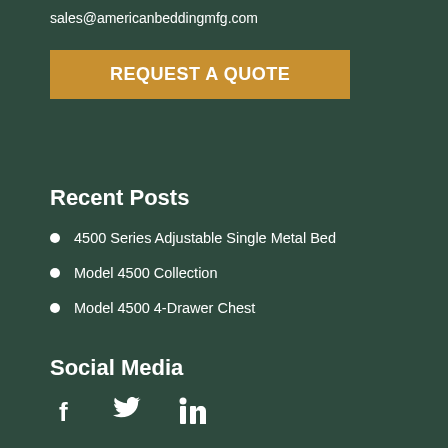sales@americanbeddingmfg.com
REQUEST A QUOTE
Recent Posts
4500 Series Adjustable Single Metal Bed
Model 4500 Collection
Model 4500 4-Drawer Chest
Social Media
[Figure (infographic): Social media icons: Facebook, Twitter, LinkedIn]